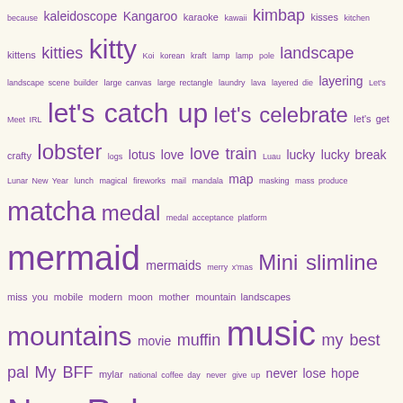because kaleidoscope Kangaroo karaoke kawaii kimbap kisses kitchen kittens kitties kitty Koi korean kraft lamp lamp pole landscape landscape scene builder large canvas large rectangle laundry lava layered die layering Let's Meet IRL let's catch up let's celebrate let's get crafty lobster logs lotus love love train Luau lucky lucky break Lunar New Year lunch magical fireworks mail mandala map masking mass produce matcha medal medal acceptance platform mermaid mermaids merry x'mas Mini slimline miss you mobile modern moon mother mountain landscapes mountains movie muffin music my best pal My BFF mylar national coffee day never give up never lose hope New Release night sky no one like you notes ocean orbit organizer origami ornament outdoor overalys overlays paint palace pamper yourself panels paris park party pastel pattern patterned paper patterns paws pawsome penguin penguin agenda